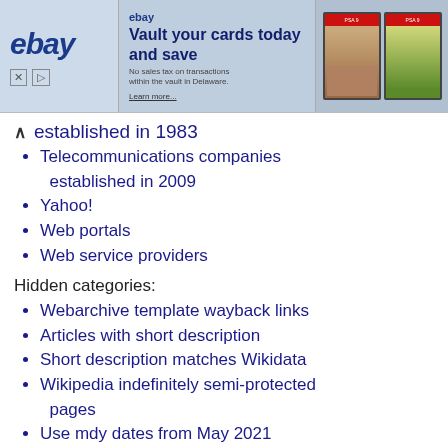[Figure (other): eBay advertisement banner with logo, 'Vault your cards today and save' headline, and images of graded trading cards]
established in 1983
Telecommunications companies established in 2009
Yahoo!
Web portals
Web service providers
Hidden categories:
Webarchive template wayback links
Articles with short description
Short description matches Wikidata
Wikipedia indefinitely semi-protected pages
Use mdy dates from May 2021
Articles needing additional references from April 2017